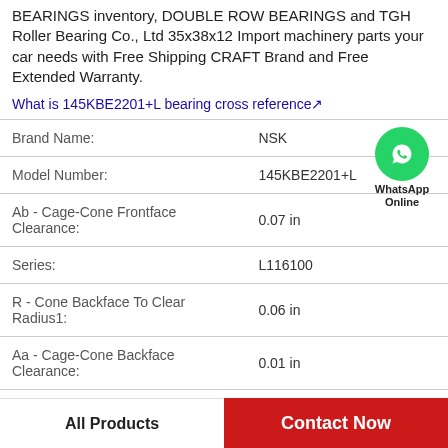BEARINGS inventory, DOUBLE ROW BEARINGS and TGH Roller Bearing Co., Ltd 35x38x12 Import machinery parts your car needs with Free Shipping CRAFT Brand and Free Extended Warranty.
What is 145KBE2201+L bearing cross reference
| Property | Value |
| --- | --- |
| Brand Name: | NSK |
| Model Number: | 145KBE2201+L |
| Ab - Cage-Cone Frontface Clearance: | 0.07 in |
| Series: | L116100 |
| R - Cone Backface To Clear Radius1: | 0.06 in |
| Aa - Cage-Cone Backface Clearance: | 0.01 in |
| d: | 3.2500 in |
[Figure (illustration): WhatsApp Online contact button with green phone icon]
All Products
Contact Now